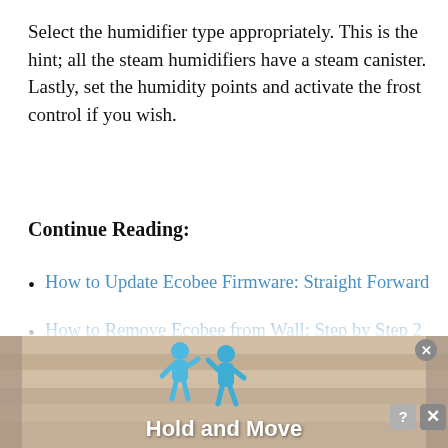Select the humidifier type appropriately. This is the hint; all the steam humidifiers have a steam canister. Lastly, set the humidity points and activate the frost control if you wish.
Continue Reading:
How to Update Ecobee Firmware: Straight Forward
How to Remove Ecobee from Wall: Step by Step 2 Minute Guide
What is Ecobee HomeKit? Ultimate Guide
[Figure (other): Advertisement banner at the bottom showing two blue cartoon figures and the text 'Hold and Move' with close/help buttons in the top right corner.]